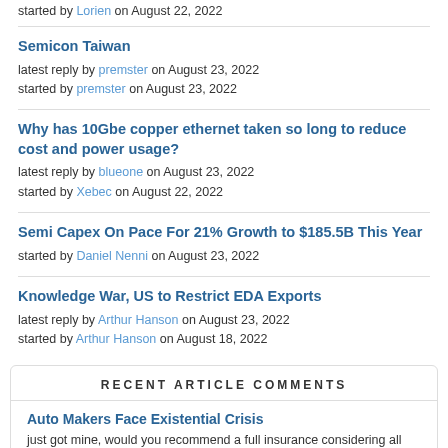started by Lorien on August 22, 2022
Semicon Taiwan
latest reply by premster on August 23, 2022
started by premster on August 23, 2022
Why has 10Gbe copper ethernet taken so long to reduce cost and power usage?
latest reply by blueone on August 23, 2022
started by Xebec on August 22, 2022
Semi Capex On Pace For 21% Growth to $185.5B This Year
started by Daniel Nenni on August 23, 2022
Knowledge War, US to Restrict EDA Exports
latest reply by Arthur Hanson on August 23, 2022
started by Arthur Hanson on August 18, 2022
RECENT ARTICLE COMMENTS
Auto Makers Face Existential Crisis
just got mine, would you recommend a full insurance considering all the maintenance costs are close to 0?